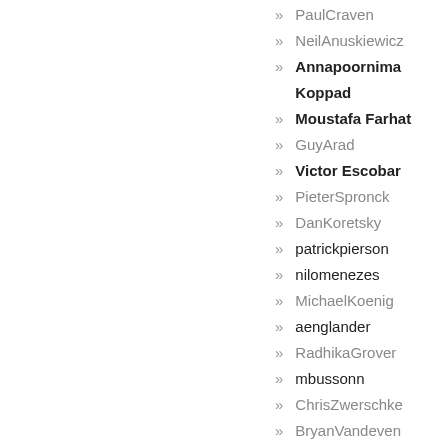» PaulCraven
» NeilAnuskiewicz
» Annapoornima Koppad
» Moustafa Farhat
» GuyArad
» Victor Escobar
» PieterSpronck
» DanKoretsky
» patrickpierson
» nilomenezes
» MichaelKoenig
» aenglander
» RadhikaGrover
» mbussonn
» ChrisZwerschke
» BryanVandeven
» RaminNietzsche
» Viren Parmar